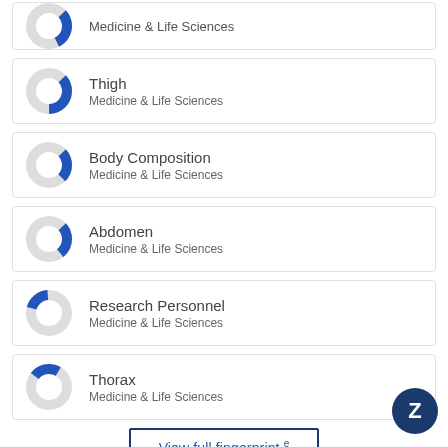[Figure (donut-chart): Partial donut chart (blue segment ~30%) for Medicine & Life Sciences (top card, cropped)]
Medicine & Life Sciences
[Figure (donut-chart): Partial donut chart (blue segment ~40%) for Thigh / Medicine & Life Sciences]
Thigh
Medicine & Life Sciences
[Figure (donut-chart): Partial donut chart (blue segment ~25%) for Body Composition / Medicine & Life Sciences]
Body Composition
Medicine & Life Sciences
[Figure (donut-chart): Partial donut chart (blue segment ~30%) for Abdomen / Medicine & Life Sciences]
Abdomen
Medicine & Life Sciences
[Figure (donut-chart): Partial donut chart (blue segment ~20%) for Research Personnel / Medicine & Life Sciences]
Research Personnel
Medicine & Life Sciences
[Figure (donut-chart): Partial donut chart (blue segment ~28%) for Thorax / Medicine & Life Sciences]
Thorax
Medicine & Life Sciences
View full fingerprint ↗